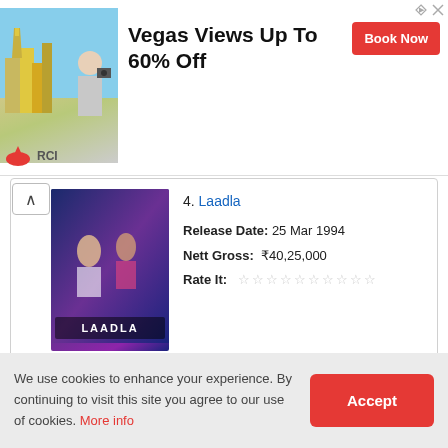[Figure (infographic): Advertisement banner for RCI showing Las Vegas travel deals. Photo of man with camera in front of Las Vegas skyline. Text: Vegas Views Up To 60% Off. Book Now button. RCI logo at bottom left.]
4. Laadla
Release Date: 25 Mar 1994
Nett Gross: ₹40,25,000
Rate It: ☆☆☆☆☆☆☆☆☆☆
We use cookies to enhance your experience. By continuing to visit this site you agree to our use of cookies. More info